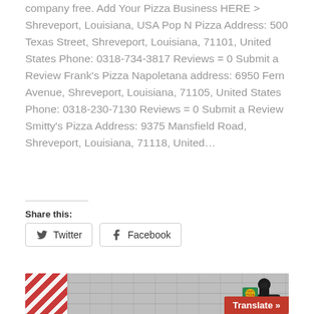company free. Add Your Pizza Business HERE > Shreveport, Louisiana, USA Pop N Pizza Address: 500 Texas Street, Shreveport, Louisiana, 71101, United States Phone: 0318-734-3817 Reviews = 0 Submit a Review Frank's Pizza Napoletana address: 6950 Fern Avenue, Shreveport, Louisiana, 71105, United States Phone: 0318-230-7130 Reviews = 0 Submit a Review Smitty's Pizza Address: 9375 Mansfield Road, Shreveport, Louisiana, 71118, United...
Share this:
[Figure (screenshot): Social sharing buttons for Twitter and Facebook with icons, styled as outlined buttons.]
[Figure (photo): Photo of a delivery person on a scooter with a green Pizza Lads delivery box, in front of a stone wall. Top-left corner has red and white diagonal stripes (US flag). Bottom-right has a red Translate button.]